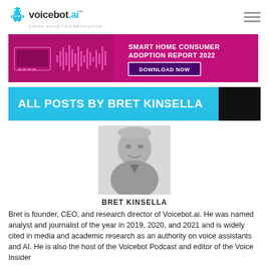voicebot.ai — GIVING VOICE TO A REVOLUTION
[Figure (infographic): Smart Home Consumer Adoption Report 2022 banner advertisement with pink/magenta background, waveform graphic, smart home device illustration, and DOWNLOAD NOW button]
ALL POSTS BY BRET KINSELLA
[Figure (photo): Black and white headshot photo of Bret Kinsella, a man in a suit jacket, smiling]
BRET KINSELLA
Bret is founder, CEO, and research director of Voicebot.ai. He was named analyst and journalist of the year in 2019, 2020, and 2021 and is widely cited in media and academic research as an authority on voice assistants and AI. He is also the host of the Voicebot Podcast and editor of the Voice Insider